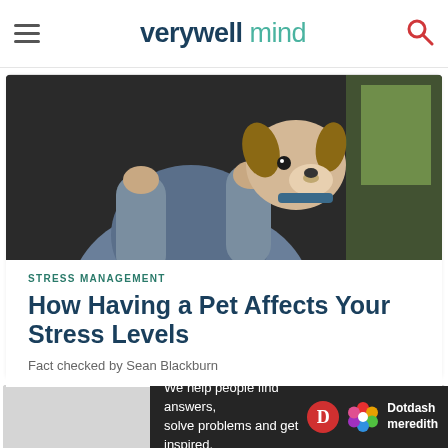verywell mind
[Figure (photo): Person holding a small beagle puppy close to their face, dark background]
STRESS MANAGEMENT
How Having a Pet Affects Your Stress Levels
Fact checked by Sean Blackburn
[Figure (photo): Person with glasses holding an orange/ginger cat close to their face]
Ad
We help people find answers, solve problems and get inspired. Dotdash meredith